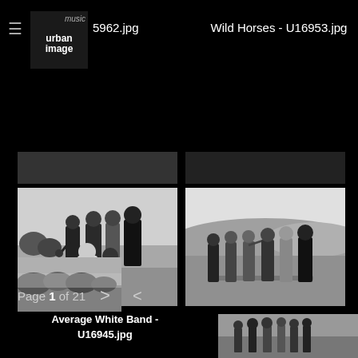≡  music urban image   ...5962.jpg   Wild Horses - U16953.jpg
[Figure (photo): Black and white photo of Average White Band group of 6 men outdoors near water]
Average White Band - U16945.jpg
[Figure (photo): Black and white photo of Average White Band members standing in a line outdoors near water and hills]
Average White Band - U16941.jpg
[Figure (photo): Partial black and white photo showing trees and landscape]
[Figure (photo): Partial black and white photo at bottom right corner]
Page 1 of 21  >  <